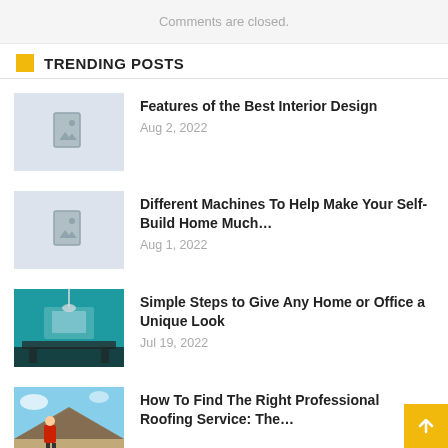Comments are closed.
TRENDING POSTS
Features of the Best Interior Design — Aug 2, 2022
Different Machines To Help Make Your Self-Build Home Much… — Aug 1, 2022
Simple Steps to Give Any Home or Office a Unique Look — Jul 19, 2022
How To Find The Right Professional Roofing Service: The…